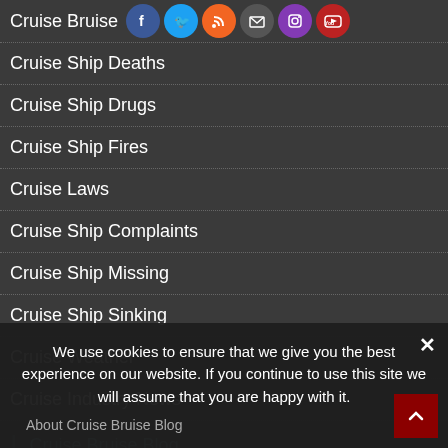Cruise Bruise
[Figure (illustration): Social media icons: Facebook, Twitter, RSS, Mail, Instagram, YouTube]
Cruise Ship Deaths
Cruise Ship Drugs
Cruise Ship Fires
Cruise Laws
Cruise Ship Complaints
Cruise Ship Missing
Cruise Ship Sinking
Cruise Weather
Cruise Industry News
Cruise Bruise Blog
We use cookies to ensure that we give you the best experience on our website. If you continue to use this site we will assume that you are happy with it.
About Cruise Bruise Blog